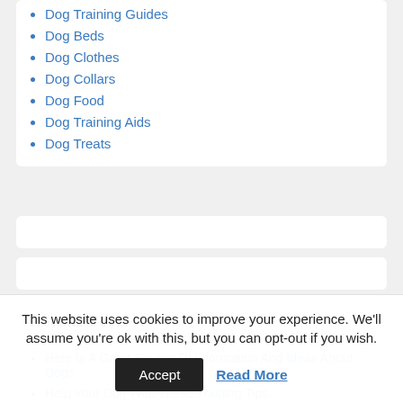Dog Training Guides
Dog Beds
Dog Clothes
Dog Collars
Dog Food
Dog Training Aids
Dog Treats
Recent Posts
Here Is A Great Source Of Information And Ideas About Dogs
Help Your Dog With These Training Tips
This website uses cookies to improve your experience. We'll assume you're ok with this, but you can opt-out if you wish.
Accept  Read More